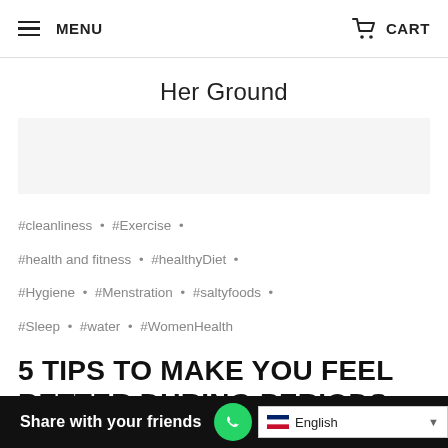MENU  CART
Her Ground
#cleanliness • #Exercise • #health and fitness • #healthyDiet • #Hygiene • #Menstration • #saltyfoods • #Sleep • #water • #WomenHealth
5 TIPS TO MAKE YOU FEEL BETTER DURING PERIODS
Share with your friends